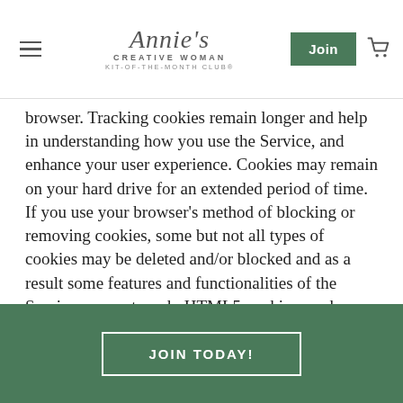Annie's Creative Woman Kit-of-the-Month Club
browser. Tracking cookies remain longer and help in understanding how you use the Service, and enhance your user experience. Cookies may remain on your hard drive for an extended period of time. If you use your browser's method of blocking or removing cookies, some but not all types of cookies may be deleted and/or blocked and as a result some features and functionalities of the Service may not work. HTML5 cookies can be programmed through HTML5 local storage. HTML 5 cookies are locally stored on your device other than in the browser and browser settings won't control them. To identify certain types of local shared objects on your
JOIN TODAY!